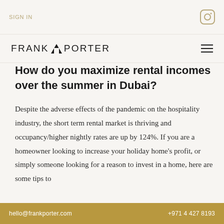SIGN IN
FRANK & PORTER
How do you maximize rental incomes over the summer in Dubai?
Despite the adverse effects of the pandemic on the hospitality industry, the short term rental market is thriving and occupancy/higher nightly rates are up by 124%. If you are a homeowner looking to increase your holiday home's profit, or simply someone looking for a reason to invest in a home, here are some tips to
hello@frankporter.com +971 4 427 8193